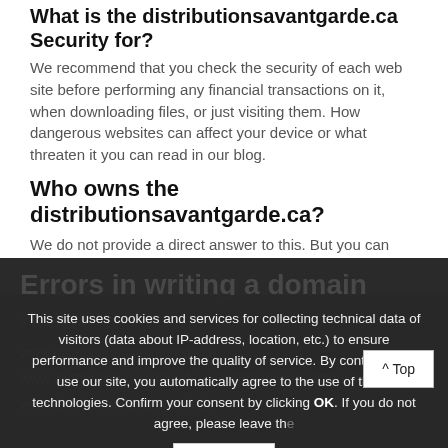What is the distributionsavantgarde.ca Security for?
We recommend that you check the security of each web site before performing any financial transactions on it, when downloading files, or just visiting them. How dangerous websites can affect your device or what threaten it you can read in our blog.
Who owns the distributionsavantgarde.ca?
We do not provide a direct answer to this. But you can check who your website is registered with the CheckWebsite service. The primary answer is provided by the distributionsavantgarde.ca domain registrar using WHOIS.
Order a virus scan of your site. Professionals work!
Errors in writing a domain name
www.distributionsavantgarde.ca
www.distributionsavantgarde  diswtributionsavantgarde.ca
www.distributionsavantgarde.ja
This site uses cookies and services for collecting technical data of visitors (data about IP-address, location, etc.) to ensure performance and improve the quality of service. By continuing to use our site, you automatically agree to the use of these technologies. Confirm your consent by clicking OK. If you do not agree, please leave the site.